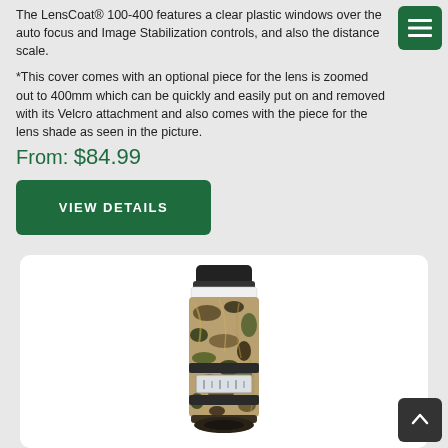The LensCoat® 100-400 features a clear plastic windows over the auto focus and Image Stabilization controls, and also the distance scale.
*This cover comes with an optional piece for the lens is zoomed out to 400mm which can be quickly and easily put on and removed with its Velcro attachment and also comes with the piece for the lens shade as seen in the picture.
From: $84.99
VIEW DETAILS
[Figure (photo): Product photo of LensCoat 100-400 lens cover in camouflage pattern (Realtree Max-4 or similar) showing the camera lens wrapped in brown/tan/green camouflage material with a clear window for the distance scale and a black lens cap on top.]